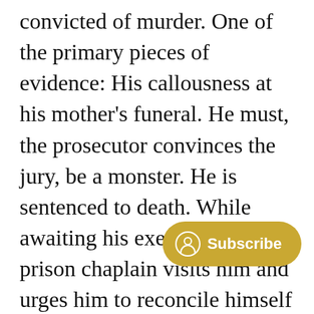convicted of murder. One of the primary pieces of evidence: His callousness at his mother's funeral. He must, the prosecutor convinces the jury, be a monster. He is sentenced to death. While awaiting his execution, the prison chaplain visits him and urges him to reconcile himself with Christ. Mersault, unsurprisingly, is indifferent to anything like religion or the after-life and doesn't see any sense in the chaplain's urgings. The minister doesn't relent until Mersault blows up, crying out that none of it ma... difference: all men are equally worthy; all